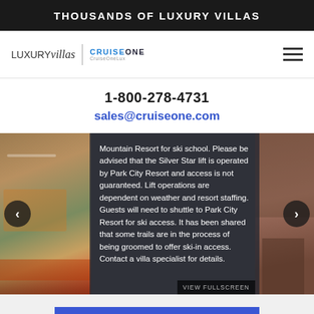THOUSANDS OF LUXURY VILLAS
[Figure (logo): LuxuryVillas | CruiseOne logo with hamburger menu icon]
1-800-278-4731
sales@cruiseone.com
[Figure (photo): Mountain Resort for ski school. Please be advised that the Silver Star lift is operated by Park City Resort and access is not guaranteed. Lift operations are dependent on weather and resort staffing. Guests will need to shuttle to Park City Resort for ski access. It has been shared that some trails are in the process of being groomed to offer ski-in access. Contact a villa specialist for details.]
SEND INQUIRY